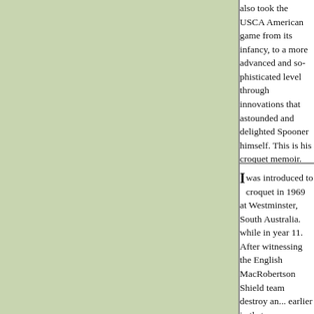also took the USCA American game from its infancy, to a more advanced and sophisticated level through innovations that astounded and delighted Spooner himself. This is his croquet memoir.
I was introduced to croquet in 1969 at Westminster, South Australia. while in year 11. After witnessing the English MacRobertson Shield team destroy an... earlier in that same year, Tom Armstrong--him... Adelaide—had resolved to take the game to as... as possible in search of new talent.